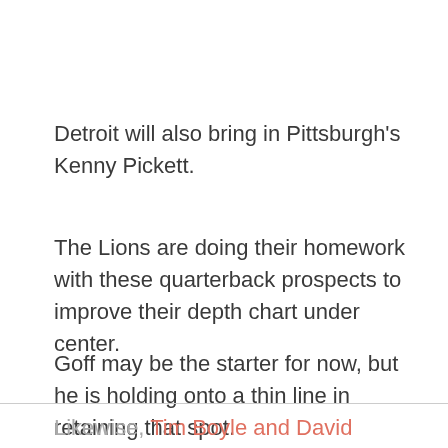Detroit will also bring in Pittsburgh's Kenny Pickett.
The Lions are doing their homework with these quarterback prospects to improve their depth chart under center.
Goff may be the starter for now, but he is holding onto a thin line in retaining that spot.
Likewise, Tim Boyle and David Blough have